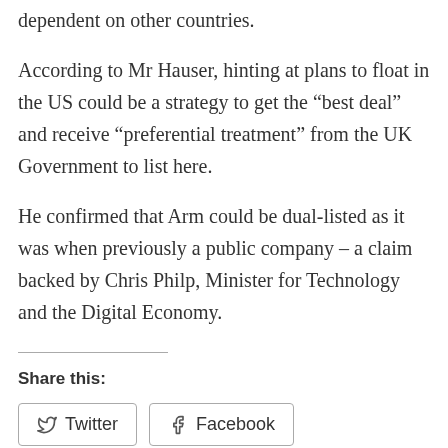dependent on other countries.
According to Mr Hauser, hinting at plans to float in the US could be a strategy to get the “best deal” and receive “preferential treatment” from the UK Government to list here.
He confirmed that Arm could be dual-listed as it was when previously a public company – a claim backed by Chris Philp, Minister for Technology and the Digital Economy.
Share this:
Twitter
Facebook
Like